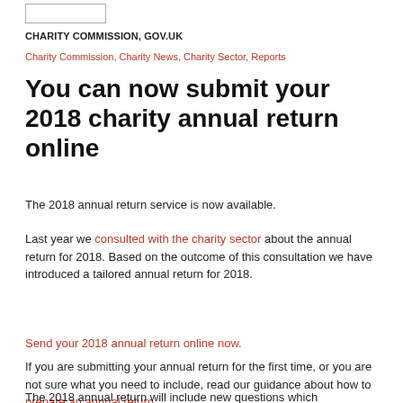[Figure (logo): Small logo box placeholder (outline rectangle)]
CHARITY COMMISSION, GOV.UK
Charity Commission, Charity News, Charity Sector, Reports
You can now submit your 2018 charity annual return online
The 2018 annual return service is now available.
Last year we consulted with the charity sector about the annual return for 2018. Based on the outcome of this consultation we have introduced a tailored annual return for 2018.
Send your 2018 annual return online now.
If you are submitting your annual return for the first time, or you are not sure what you need to include, read our guidance about how to prepare an annual return.
The 2018 annual return will include new questions which